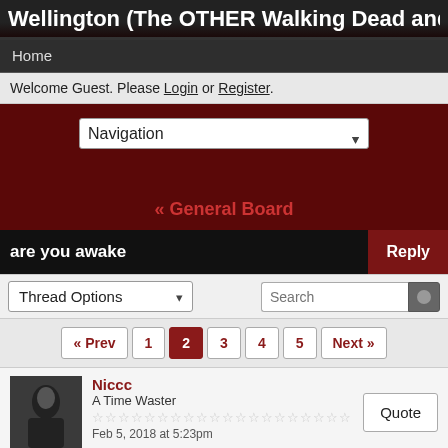Wellington (The OTHER Walking Dead and T
Home
Welcome Guest. Please Login or Register.
[Figure (screenshot): Navigation dropdown selector]
« General Board
are you awake
[Figure (screenshot): Thread Options dropdown and Search input]
« Prev  1  2  3  4  5  Next »
Niccc
A Time Waster
Feb 5, 2018 at 5:23pm